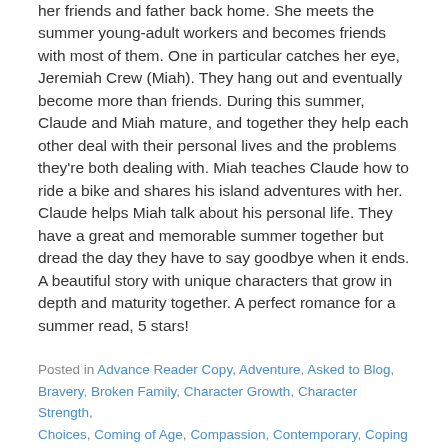her friends and father back home. She meets the summer young-adult workers and becomes friends with most of them. One in particular catches her eye, Jeremiah Crew (Miah). They hang out and eventually become more than friends. During this summer, Claude and Miah mature, and together they help each other deal with their personal lives and the problems they're both dealing with. Miah teaches Claude how to ride a bike and shares his island adventures with her. Claude helps Miah talk about his personal life. They have a great and memorable summer together but dread the day they have to say goodbye when it ends. A beautiful story with unique characters that grow in depth and maturity together. A perfect romance for a summer read, 5 stars!
Posted in Advance Reader Copy, Adventure, Asked to Blog, Bravery, Broken Family, Character Growth, Character Strength, Choices, Coming of Age, Compassion, Contemporary, Coping Skills, Empathy, Family, First Love, Friendship, Knopf, Love,